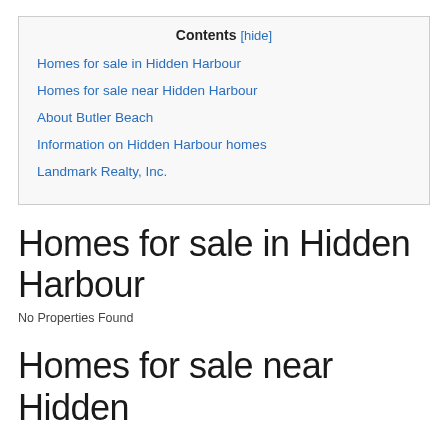| Contents [hide] |
| --- |
| Homes for sale in Hidden Harbour |
| Homes for sale near Hidden Harbour |
| About Butler Beach |
| Information on Hidden Harbour homes |
| Landmark Realty, Inc. |
Homes for sale in Hidden Harbour
No Properties Found
Homes for sale near Hidden